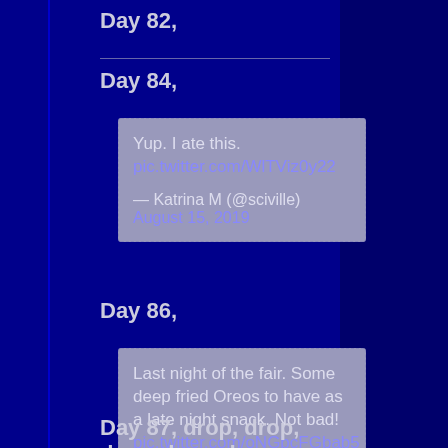Day 82,
Day 84,
Yup. I ate this. [link] — Katrina M (@sciville) August 15, 2019
Day 86,
Last night of the fair. Some deep fried Oreos to have as a late night snack. Not bad! [link] — Katrina M (@sciville) August 15, 2019
Day 87, drop, drop, drop, drop, drop...